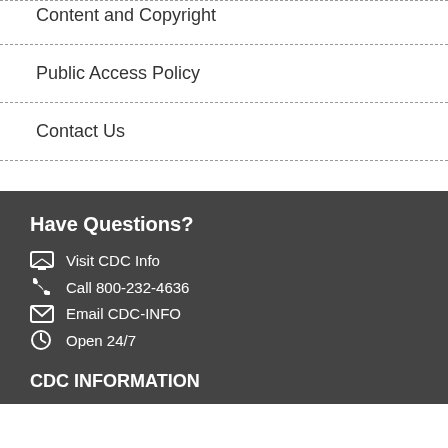Content and Copyright
Public Access Policy
Contact Us
Have Questions?
Visit CDC Info
Call 800-232-4636
Email CDC-INFO
Open 24/7
CDC INFORMATION